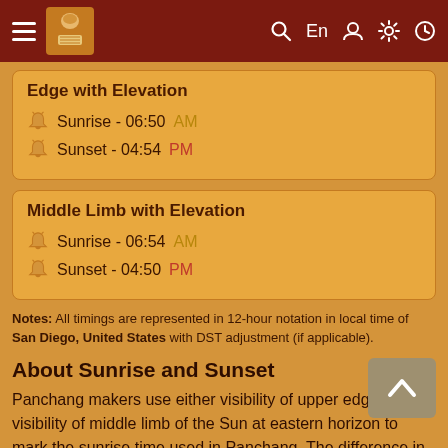Navigation bar with hamburger menu, logo, search, En, user, settings, and clock icons
Edge with Elevation
Sunrise - 06:50 AM
Sunset - 04:54 PM
Middle Limb with Elevation
Sunrise - 06:54 AM
Sunset - 04:50 PM
Notes: All timings are represented in 12-hour notation in local time of San Diego, United States with DST adjustment (if applicable).
About Sunrise and Sunset
Panchang makers use either visibility of upper edge or visibility of middle limb of the Sun at eastern horizon to mark the sunrise time used in Panchang. The difference in both timing of Sunrise could be up to few minutes.